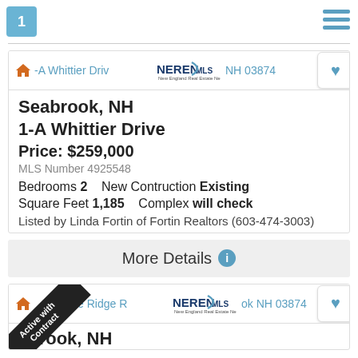1
Seabrook, NH
1-A Whittier Drive
Price: $259,000
MLS Number 4925548
Bedrooms 2   New Contruction Existing
Square Feet 1,185   Complex will check
Listed by Linda Fortin of Fortin Realtors (603-474-3003)
More Details
Active with Contract
abrook, NH